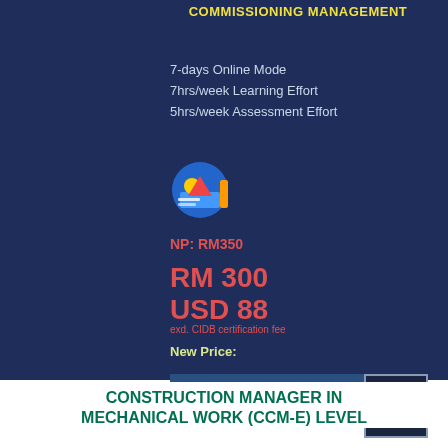COMMISSIONING MANAGEMENT
7-days Online Mode
7hrs/week Learning Effort
5hrs/week Assessment Effort
[Figure (illustration): Badge/certificate icon with colorful design]
NP: RM350
RM 300
USD 88
exd. CIDB certification fee
New Price:
Apply in LMS
CONSTRUCTION MANAGER IN MECHANICAL WORK (CCM-E) LEVEL